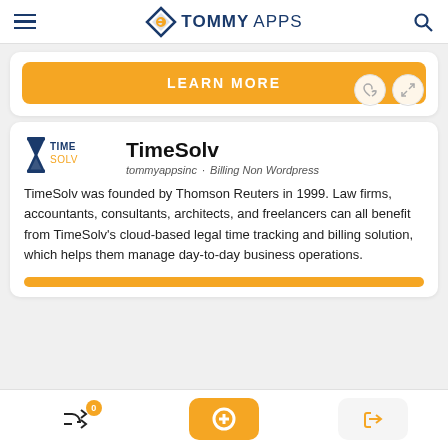TOMMYAPPS
[Figure (screenshot): Learn More orange button with heart and expand icons at bottom right]
TimeSolv
tommyappsinc · Billing Non Wordpress
TimeSolv was founded by Thomson Reuters in 1999. Law firms, accountants, consultants, architects, and freelancers can all benefit from TimeSolv's cloud-based legal time tracking and billing solution, which helps them manage day-to-day business operations.
0 | + | →